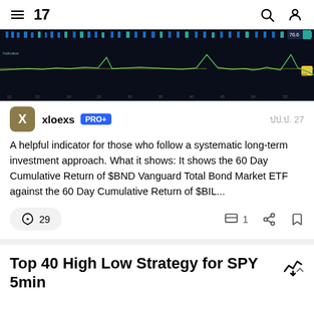TradingView navigation header with hamburger menu, TV logo, search and account icons
[Figure (screenshot): Dark-themed financial chart showing a line chart (likely BND or similar bond ETF cumulative return) on a dark background with green line and blue/teal indicators at the top.]
xloexs PRO+ ปป.ป. 27
A helpful indicator for those who follow a systematic long-term investment approach. What it shows: It shows the 60 Day Cumulative Return of $BND Vanguard Total Bond Market ETF against the 60 Day Cumulative Return of $BIL...
29  1
Top 40 High Low Strategy for SPY 5min